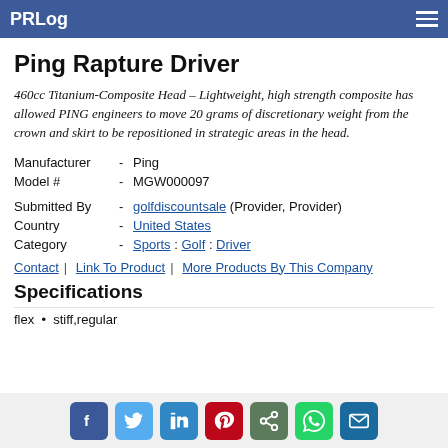PRLog
Ping Rapture Driver
460cc Titanium-Composite Head – Lightweight, high strength composite has allowed PING engineers to move 20 grams of discretionary weight from the crown and skirt to be repositioned in strategic areas in the head.
| Manufacturer | - | Ping |
| Model # | - | MGW000097 |
| Submitted By | - | golfdiscountsale (Provider, Provider) |
| Country | - | United States |
| Category | - | Sports : Golf : Driver |
Contact | Link To Product | More Products By This Company
Specifications
flex • stiff,regular